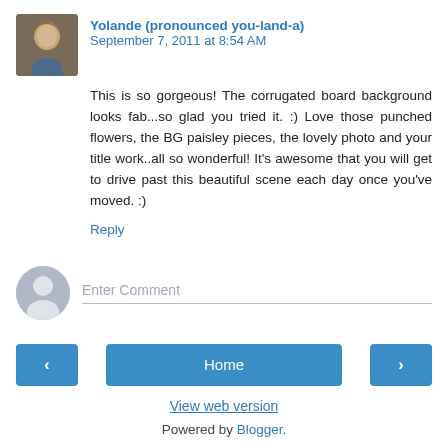Yolande (pronounced you-land-a) September 7, 2011 at 8:54 AM
This is so gorgeous! The corrugated board background looks fab...so glad you tried it. :) Love those punched flowers, the BG paisley pieces, the lovely photo and your title work..all so wonderful! It's awesome that you will get to drive past this beautiful scene each day once you've moved. :)
Reply
Enter Comment
Home
View web version
Powered by Blogger.